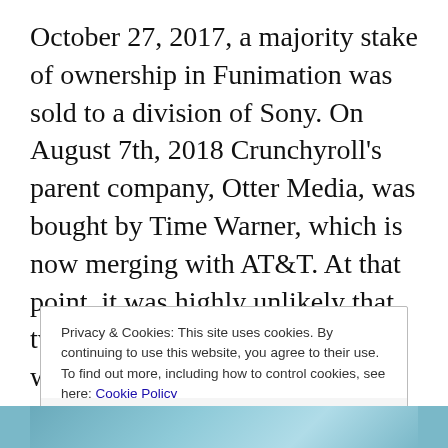October 27, 2017, a majority stake of ownership in Funimation was sold to a division of Sony. On August 7th, 2018 Crunchyroll's parent company, Otter Media, was bought by Time Warner, which is now merging with AT&T. At that point, it was highly unlikely that two rival media conglomerates were going to keep working together, thus eventually leading to the end of the Funimation-Crunchyroll partnership.
Privacy & Cookies: This site uses cookies. By continuing to use this website, you agree to their use.
To find out more, including how to control cookies, see here: Cookie Policy
Close and accept
[Figure (photo): Partial photo strip visible at bottom of page, teal/blue tones]